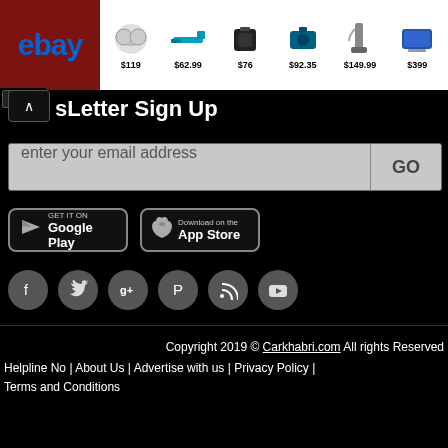[Figure (screenshot): eBay advertisement banner showing earbuds ($119), tool ($62.99), speaker ($76), drill kit ($92.35), vacuum ($149.99), tablet ($399)]
sLetter Sign Up
enter your email address
GO
[Figure (logo): GET IT ON Google Play button]
[Figure (logo): Download on the App Store button]
[Figure (infographic): Social media icons: Facebook, Twitter, Google+, Pinterest, RSS, YouTube]
Copyright 2019 © Carkhabri.com All rights Reserved
Helpline No | About Us | Advertise with us | Privacy Policy |
Terms and Conditions